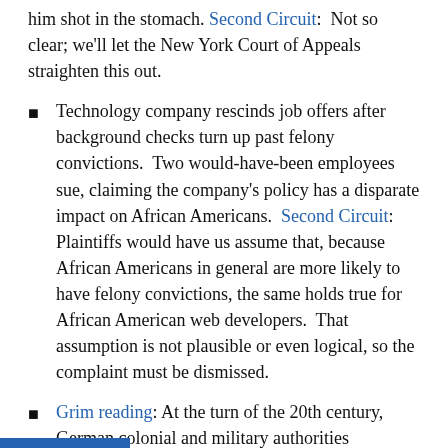him shot in the stomach. Second Circuit: Not so clear; we'll let the New York Court of Appeals straighten this out.
Technology company rescinds job offers after background checks turn up past felony convictions. Two would-have-been employees sue, claiming the company's policy has a disparate impact on African Americans. Second Circuit: Plaintiffs would have us assume that, because African Americans in general are more likely to have felony convictions, the same holds true for African American web developers. That assumption is not plausible or even logical, so the complaint must be dismissed.
Grim reading: At the turn of the 20th century, German colonial and military authorities annihilated about 100,000 people in what is now